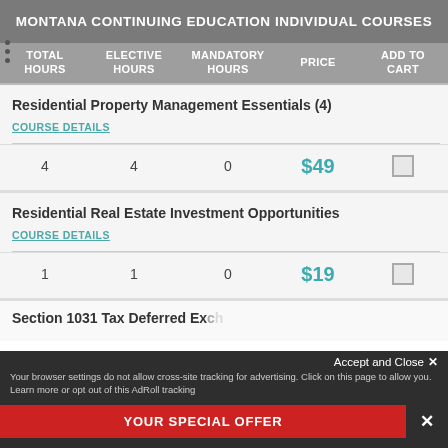MONTANA CONTINUING EDUCATION INDIVIDUAL COURSES
| TOTAL HOURS | ELECTIVE HOURS | MANDATORY HOURS | PRICE | ADD TO CART |
| --- | --- | --- | --- | --- |
| Residential Property Management Essentials (4) |  |  |  |  |
| 4 | 4 | 0 | $49 | ☐ |
| Residential Real Estate Investment Opportunities |  |  |  |  |
| 1 | 1 | 0 | $19 | ☐ |
Section 1031 Tax Deferred Ex...
Accept and Close ✕
Your browser settings do not allow cross-site tracking for advertising. Click on this page to allow you. Learn more or opt out of this AdRoll tracking
YOUR SPECIAL OFFER